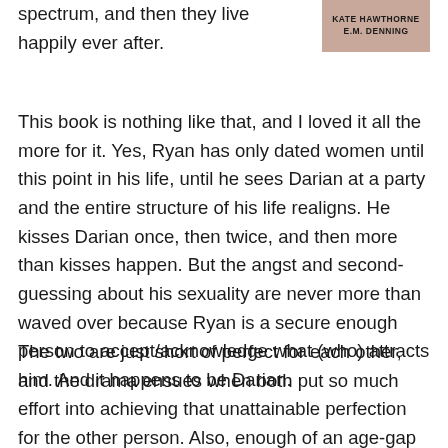spectrum, and then they live happily ever after.
[Figure (photo): Book cover image with text 'KATE HAWTHORNE E.M. DENNING' on a warm-toned background]
This book is nothing like that, and I loved it all the more for it. Yes, Ryan has only dated women until this point in his life, until he sees Darian at a party and the entire structure of his life realigns. He kisses Darian once, then twice, and then more than kisses happen. But the angst and second-guessing about his sexuality are never more than waved over because Ryan is a secure enough person to accept/acknowledge what (who) attracts him. And it happens to be Darian.
The two are just short of perfect for each other, and the drama ensues when both put so much effort into achieving that unattainable perfection for the other person. Also, enough of an age-gap exists that Darian is